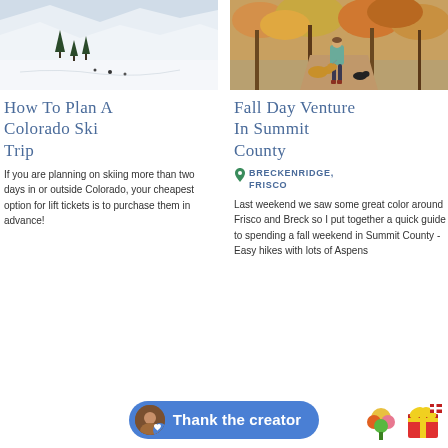[Figure (photo): Aerial view of a ski slope with snow-covered mountain and trees, skiers visible on the slope]
How To Plan A Colorado Ski Trip
If you are planning on skiing more than two days in or outside Colorado, your cheapest option for lift tickets is to purchase them in advance!
[Figure (photo): Person walking on a fall trail with two dogs among autumn-colored trees, viewed from behind]
Fall Day Venture In Summit County
BRECKENRIDGE, FRISCO
Last weekend we saw some great color around Frisco and Breck so I put together a quick guide to spending a fall weekend in Summit County - Easy hikes with lots of Aspens
Thank the creator